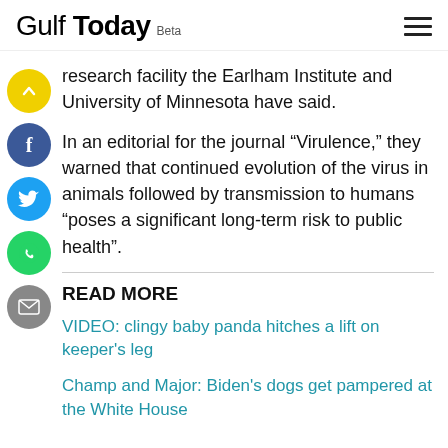Gulf Today Beta
research facility the Earlham Institute and University of Minnesota have said.
In an editorial for the journal “Virulence,” they warned that continued evolution of the virus in animals followed by transmission to humans “poses a significant long-term risk to public health”.
READ MORE
VIDEO: clingy baby panda hitches a lift on keeper's leg
Champ and Major: Biden's dogs get pampered at the White House